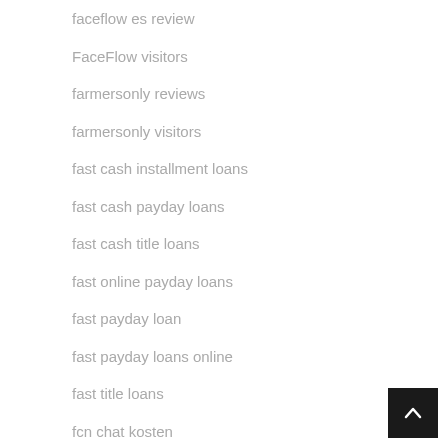faceflow es review
FaceFlow visitors
farmersonly reviews
farmersonly visitors
fast cash installment loans
fast cash payday loans
fast cash title loans
fast online payday loans
fast payday loan
fast payday loans online
fast title loans
fcn chat kosten
FCN chat visitors